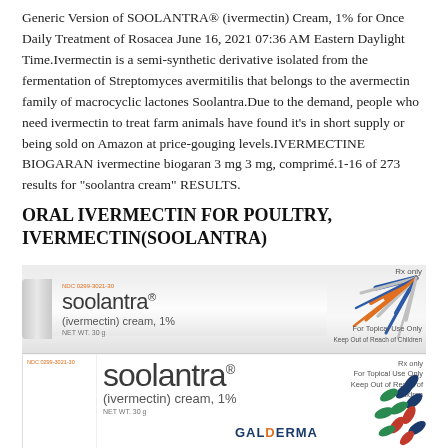Generic Version of SOOLANTRA® (ivermectin) Cream, 1% for Once Daily Treatment of Rosacea June 16, 2021 07:36 AM Eastern Daylight Time.Ivermectin is a semi-synthetic derivative isolated from the fermentation of Streptomyces avermitilis that belongs to the avermectin family of macrocyclic lactones Soolantra.Due to the demand, people who need ivermectin to treat farm animals have found it's in short supply or being sold on Amazon at price-gouging levels.IVERMECTINE BIOGARAN ivermectine biogaran 3 mg 3 mg, comprimé.1-16 of 273 results for "soolantra cream" RESULTS.
ORAL IVERMECTIN FOR POULTRY, IVERMECTIN(SOOLANTRA)
[Figure (photo): Photo of two Soolantra (ivermectin) cream 1% products: a tube on top and a box below. Both show the Soolantra brand name, (ivermectin) cream, 1% text, NDC number, Rx only, For Topical Use Only, Keep Out of Reach of Children labels, and decorative colored leaf/burst designs on the right side. The box also shows the Galderma logo.]